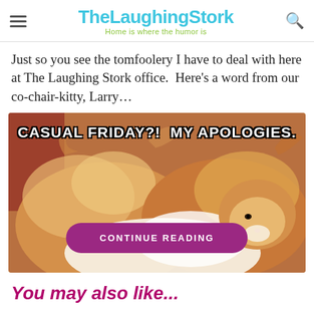TheLaughingStork — Home is where the humor is
Just so you see the tomfoolery I have to deal with here at The Laughing Stork office.  Here's a word from our co-chair-kitty, Larry…
[Figure (photo): Cat meme image of a fluffy orange and white Persian cat lying down, with white Impact-font text overlay reading 'CASUAL FRIDAY?!  MY APOLOGIES.' and a purple rounded 'CONTINUE READING' button below.]
You may also like…